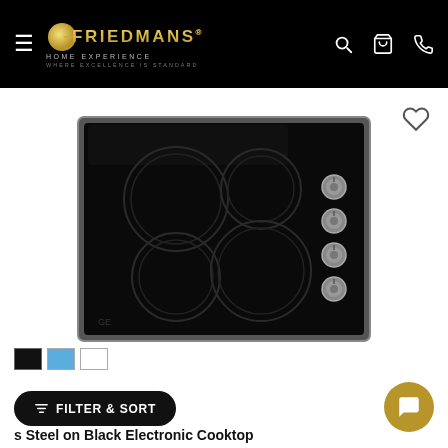Friedmans Home Experience — WHERE EXCELLENCE IS STANDARD
[Figure (photo): Black electric ceramic cooktop with 4 burners and 4 stainless steel knobs on the right side, with stainless steel trim border]
Steel on Black Electronic Cooktop
FILTER & SORT